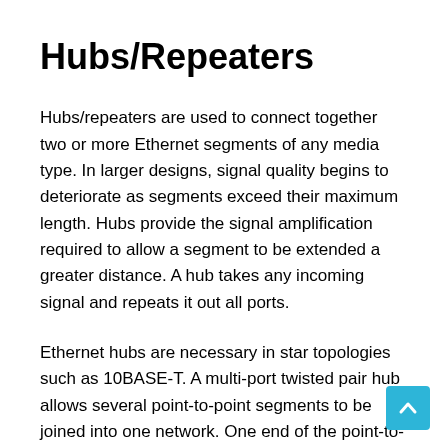Hubs/Repeaters
Hubs/repeaters are used to connect together two or more Ethernet segments of any media type. In larger designs, signal quality begins to deteriorate as segments exceed their maximum length. Hubs provide the signal amplification required to allow a segment to be extended a greater distance. A hub takes any incoming signal and repeats it out all ports.
Ethernet hubs are necessary in star topologies such as 10BASE-T. A multi-port twisted pair hub allows several point-to-point segments to be joined into one network. One end of the point-to-point link is attached to the hub and the other is attached to the computer. If the hub is attached to a backbone, then all computers at the end of